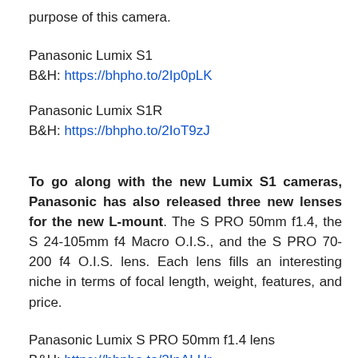purpose of this camera.
Panasonic Lumix S1
B&H: https://bhpho.to/2Ip0pLK
Panasonic Lumix S1R
B&H: https://bhpho.to/2IoT9zJ
To go along with the new Lumix S1 cameras, Panasonic has also released three new lenses for the new L-mount. The S PRO 50mm f1.4, the S 24-105mm f4 Macro O.I.S., and the S PRO 70-200 f4 O.I.S. lens. Each lens fills an interesting niche in terms of focal length, weight, features, and price.
Panasonic Lumix S PRO 50mm f1.4 lens
B&H: https://bhpho.to/2InALHr
Panasonic Lumix S 24-105mm f4 Macro O.I.S. lens